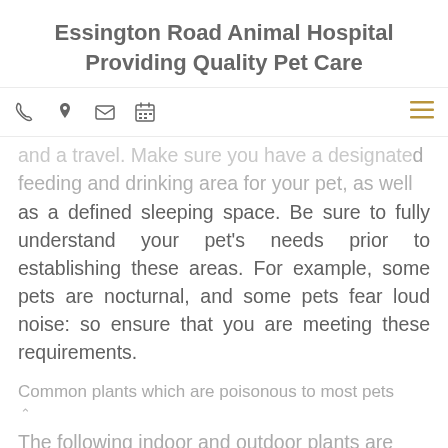Essington Road Animal Hospital
Providing Quality Pet Care
and a travel. Make sure you have a designated feeding and drinking area for your pet, as well as a defined sleeping space. Be sure to fully understand your pet's needs prior to establishing these areas. For example, some pets are nocturnal, and some pets fear loud noise: so ensure that you are meeting these requirements.
Common plants which are poisonous to most pets
The following indoor and outdoor plants are